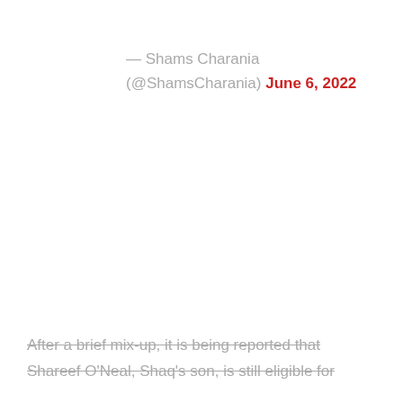— Shams Charania (@ShamsCharania) June 6, 2022
After a brief mix-up, it is being reported that Shareef O'Neal, Shaq's son, is still eligible for